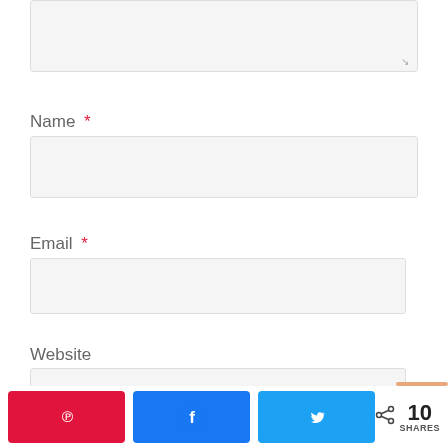[Figure (screenshot): Textarea input box (greyed out, partially visible at top of page)]
Name *
[Figure (screenshot): Name text input field (light grey, empty)]
Email *
[Figure (screenshot): Email text input field (light grey, empty)]
Website
[Figure (screenshot): Website text input field (light grey, empty)]
[Figure (infographic): Social share buttons: Pinterest (red), Facebook (blue), Twitter (light blue), and share count showing 10 SHARES]